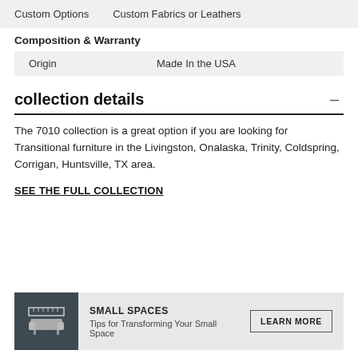Custom Options    Custom Fabrics or Leathers
Composition & Warranty
|  |  |
| --- | --- |
| Origin | Made In the USA |
collection details
The 7010 collection is a great option if you are looking for Transitional furniture in the Livingston, Onalaska, Trinity, Coldspring, Corrigan, Huntsville, TX area.
SEE THE FULL COLLECTION
[Figure (infographic): Small Spaces banner with ruler/furniture icon, heading SMALL SPACES, subtitle Tips for Transforming Your Small Space, and LEARN MORE button]